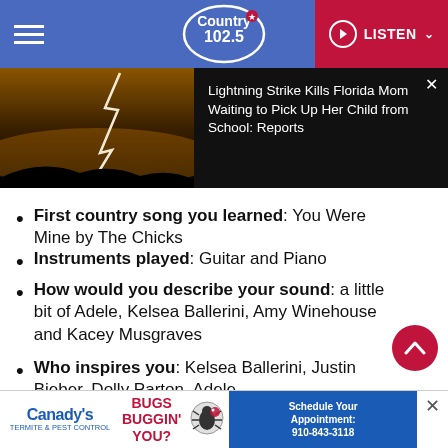Country 102.5 — LISTEN
[Figure (screenshot): News article banner showing lightning strike image with headline: Lightning Strike Kills Florida Mom Waiting to Pick Up Her Child from School: Reports]
First country song you learned: You Were Mine by The Chicks
Instruments played: Guitar and Piano
How would you describe your sound: a little bit of Adele, Kelsea Ballerini, Amy Winehouse and Kacey Musgraves
Who inspires you: Kelsea Ballerini, Justin Bieber, Dolly Parton, Adele
Dream duet partner: Luke Combs
[Figure (screenshot): Canady's Termite & Pest Control advertisement: BUGS BUGGIN' YOU? Schedule Your Appointment: 910-843-3118]